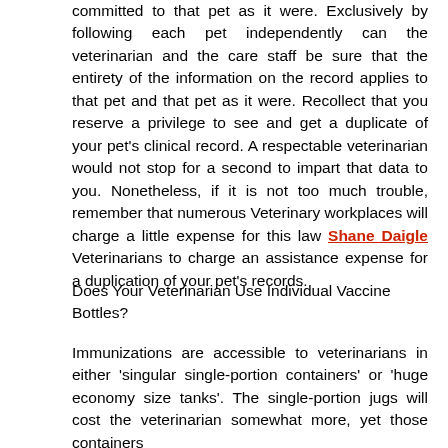committed to that pet as it were. Exclusively by following each pet independently can the veterinarian and the care staff be sure that the entirety of the information on the record applies to that pet and that pet as it were. Recollect that you reserve a privilege to see and get a duplicate of your pet's clinical record. A respectable veterinarian would not stop for a second to impart that data to you. Nonetheless, if it is not too much trouble, remember that numerous Veterinary workplaces will charge a little expense for this law Shane Daigle Veterinarians to charge an assistance expense for a duplication of your pet's records.
Does Your Veterinarian Use Individual Vaccine Bottles?
Immunizations are accessible to veterinarians in either 'singular single-portion containers' or 'huge economy size tanks'. The single-portion jugs will cost the veterinarian somewhat more, yet those containers